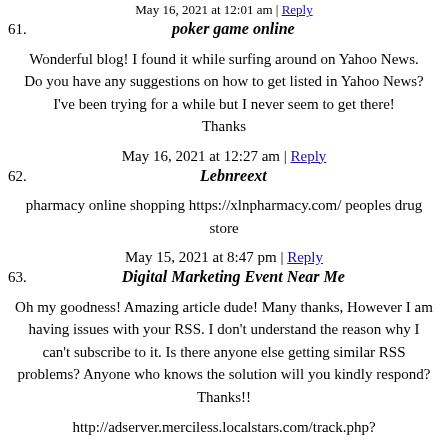May 16, 2021 at 12:01 am | Reply
61. poker game online
Wonderful blog! I found it while surfing around on Yahoo News.
Do you have any suggestions on how to get listed in Yahoo News?
I've been trying for a while but I never seem to get there! Thanks
May 16, 2021 at 12:27 am | Reply
62. Lebnreext
pharmacy online shopping https://xlnpharmacy.com/ peoples drug store
May 15, 2021 at 8:47 pm | Reply
63. Digital Marketing Event Near Me
Oh my goodness! Amazing article dude! Many thanks, However I am having issues with your RSS. I don't understand the reason why I can't subscribe to it. Is there anyone else getting similar RSS problems? Anyone who knows the solution will you kindly respond? Thanks!!
http://adserver.merciless.localstars.com/track.php?...